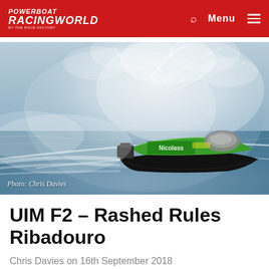POWERBOAT RACINGWORLD — Menu
[Figure (photo): A green and black powerboat racing at high speed across choppy water, creating a large spray of water. Photo credit: Chris Davies.]
UIM F2 – Rashed Rules Ribadouro
Chris Davies on 16th September 2018